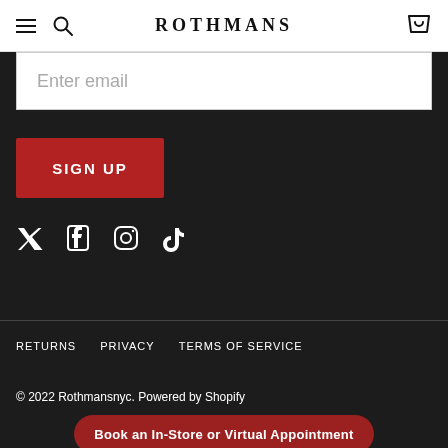ROTHMANS
Enter email
SIGN UP
[Figure (illustration): Social media icons: Twitter, Facebook, Instagram, TikTok]
RETURNS   PRIVACY   TERMS OF SERVICE
© 2022 Rothmansnyc. Powered by Shopify
Book an In-Store or Virtual Appointment